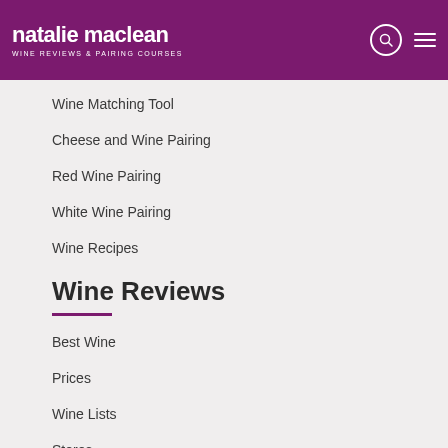[Figure (logo): Natalie MacLean Wine Reviews & Pairing Courses logo, white text on purple background]
Wine Matching Tool
Cheese and Wine Pairing
Red Wine Pairing
White Wine Pairing
Wine Recipes
Wine Reviews
Best Wine
Prices
Wine Lists
Stores
Food & Drink
Sale Wines
Wine Course